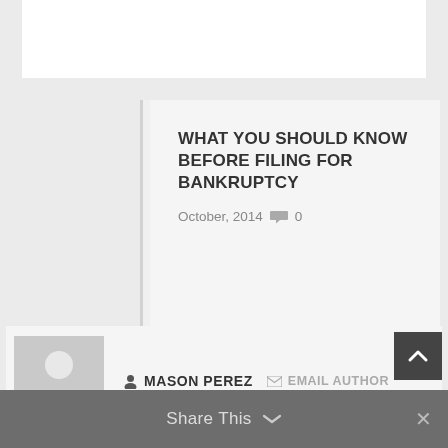WHAT YOU SHOULD KNOW BEFORE FILING FOR BANKRUPTCY
October, 2014  0
ABOUT THE AUTHOR
MASON PEREZ  EMAIL AUTHOR
Share This